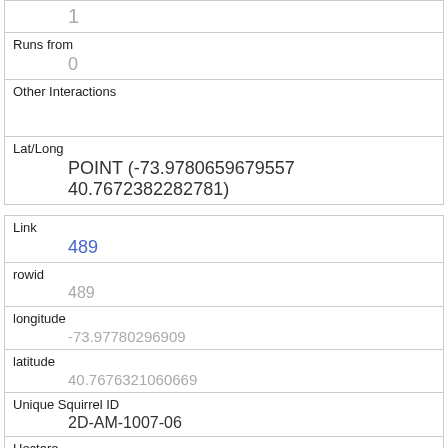| 1 |
| Runs from | 0 |
| Other Interactions |  |
| Lat/Long | POINT (-73.9780659679557 40.7672382282781) |
| Link | 489 |
| rowid | 489 |
| longitude | -73.97780296909 |
| latitude | 40.7676321060669 |
| Unique Squirrel ID | 2D-AM-1007-06 |
| Hectare | 02D |